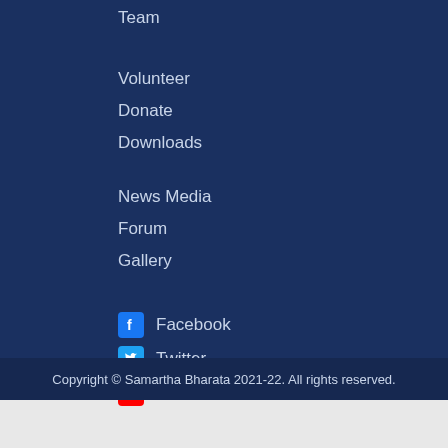Team
Volunteer
Donate
Downloads
News Media
Forum
Gallery
Facebook
Twitter
Youtube
Copyright © Samartha Bharata 2021-22. All rights reserved.